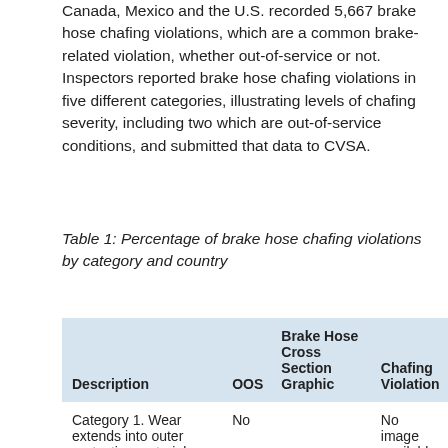Canada, Mexico and the U.S. recorded 5,667 brake hose chafing violations, which are a common brake-related violation, whether out-of-service or not. Inspectors reported brake hose chafing violations in five different categories, illustrating levels of chafing severity, including two which are out-of-service conditions, and submitted that data to CVSA.
Table 1: Percentage of brake hose chafing violations by category and country
| Description | OOS | Brake Hose Cross Section Graphic | Chafing Violation |
| --- | --- | --- | --- |
| Category 1. Wear extends into outer protective material, where applicable. | No |  | No image available |
| Category 2. Wear |  |  |  |